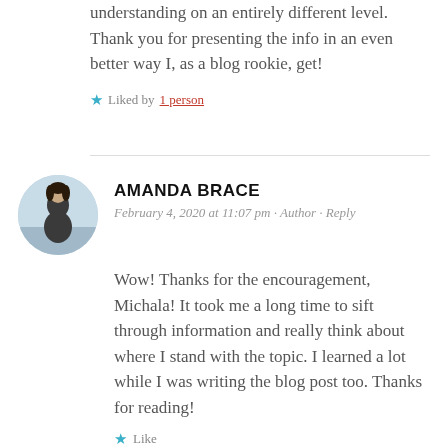understanding on an entirely different level. Thank you for presenting the info in an even better way I, as a blog rookie, get!
Liked by 1 person
AMANDA BRACE
February 4, 2020 at 11:07 pm · Author · Reply
Wow! Thanks for the encouragement, Michala! It took me a long time to sift through information and really think about where I stand with the topic. I learned a lot while I was writing the blog post too. Thanks for reading!
Like